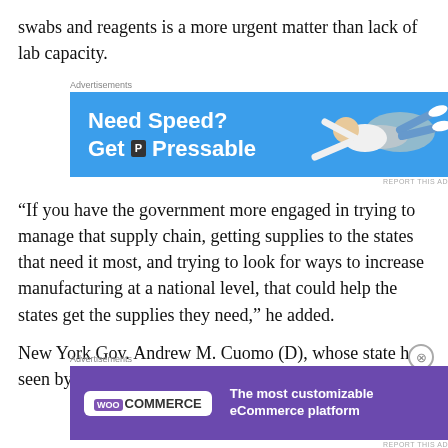swabs and reagents is a more urgent matter than lack of lab capacity.
[Figure (screenshot): Advertisement banner: 'Need Speed? Get Pressable' with a man flying on blue background]
“If you have the government more engaged in trying to manage that supply chain, getting supplies to the states that need it most, and trying to look for ways to increase manufacturing at a national level, that could help the states get the supplies they need,” he added.
New York Gov. Andrew M. Cuomo (D), whose state has seen by far the largest numbers of infections and deaths
[Figure (screenshot): Advertisement banner: WooCommerce - The most customizable eCommerce platform, purple background]